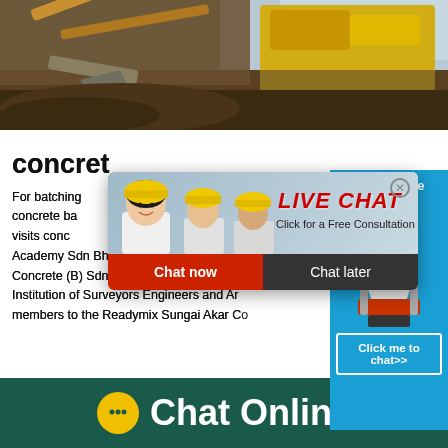[Figure (photo): Construction site photo showing heavy excavation machinery (bulldozer/excavator) moving earth, with a yellow machine visible against a pale sky background.]
concrete
For batching concrete ba visits conc Academy Sdn Bhd in collaboration with R Concrete (B) Sdn Bhd organised a technic Institution of Surveyors Engineers and Arc members to the Readymix Sungai Akar Co
[Figure (screenshot): Live chat popup overlay showing workers in hard hats, LIVE CHAT text in red italic, 'Click for a Free Consultation' subtitle, and two buttons: 'Chat now' (red) and 'Chat later' (dark gray).]
[Figure (screenshot): Right sidebar in blue showing 'hour online' text, an image of a cone crusher machine, and a 'Click me to chat>>' button.]
[Figure (screenshot): Bottom dark teal bar with WeChat-style chat bubble icon and 'Chat Online' text in white.]